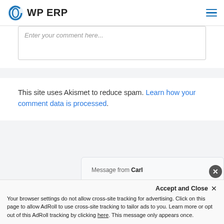WP ERP
Enter your comment here...
This site uses Akismet to reduce spam. Learn how your comment data is processed.
Message from Carl
Give WP ERP Pro a try right now. Request a free demo: https://wperp.com/demo/
Accept and Close
Your browser settings do not allow cross-site tracking for advertising. Click on this page to allow AdRoll to use cross-site tracking to tailor ads to you. Learn more or opt out of this AdRoll tracking by clicking here. This message only appears once.